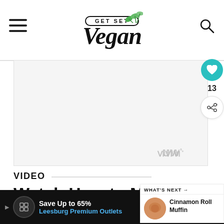GET SET Vegan
[Figure (screenshot): Blank white video placeholder area with Mediavine watermark logo in bottom right]
VIDEO
Watch How to Make Vegan Blueberry
WHAT'S NEXT → Cinnamon Roll Muffin
[Figure (infographic): Bottom advertisement bar: Save Up to 65% Leesburg Premium Outlets with navigation icons]